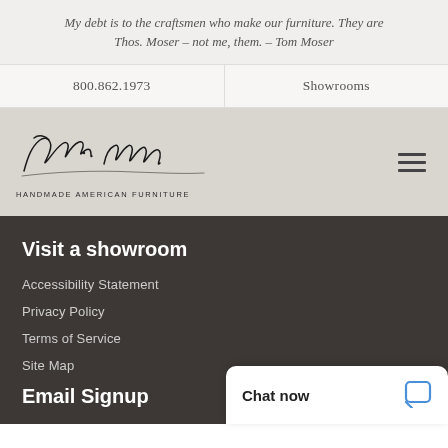My debt is to the craftsmen who make our furniture. They are Thos. Moser – not me, them. – Tom Moser
800.862.1973
Showrooms
[Figure (logo): Thos. Moser cursive signature logo with 'HANDMADE AMERICAN FURNITURE' subtitle]
Visit a showroom
Accessibility Statement
Privacy Policy
Terms of Service
Site Map
Email Signup
Chat now